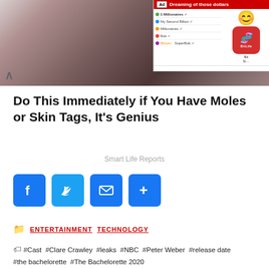[Figure (photo): Close-up photo of a person's lower face and hand, cropped, with dark hair visible]
[Figure (screenshot): Advertisement banner for BitLife app: red top bar reading 'Dreaming of those dollars', a list with colored dots, a smiley face emoji, and BitLife app icon. 'Install!' link in blue.]
Do This Immediately if You Have Moles or Skin Tags, It's Genius
Smart Life Reports
[Figure (infographic): Social share buttons: Facebook (blue f), Twitter (blue bird), Email (blue envelope), More (blue plus)]
ENTERTAINMENT  TECHNOLOGY
#Cast  #Clare Crawley  #leaks  #NBC  #Peter Weber  #release date  #the bachelorette  #The Bachelorette 2020